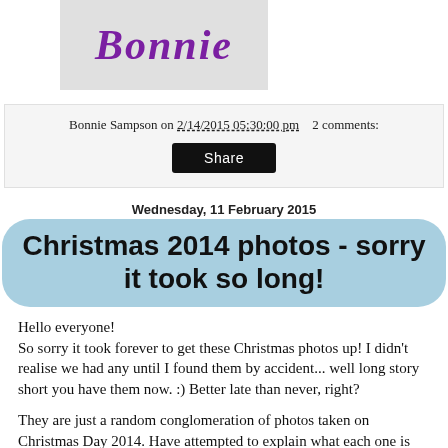[Figure (logo): Blog logo with cursive 'Bonnie' text in purple on a light grey background]
Bonnie Sampson on 2/14/2015 05:30:00 pm    2 comments:
Share
Wednesday, 11 February 2015
Christmas 2014 photos - sorry it took so long!
Hello everyone!
So sorry it took forever to get these Christmas photos up! I didn't realise we had any until I found them by accident... well long story short you have them now. :) Better late than never, right?
They are just a random conglomeration of photos taken on Christmas Day 2014. Have attempted to explain what each one is